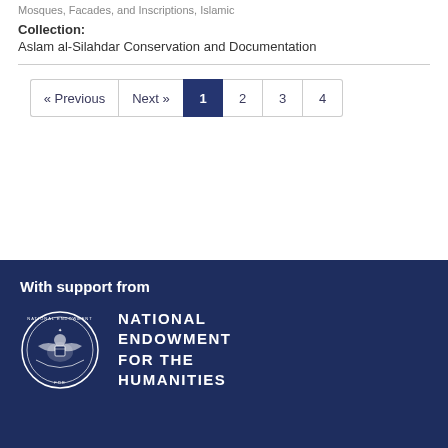Mosques, Facades, and Inscriptions, Islamic
Collection:
Aslam al-Silahdar Conservation and Documentation
« Previous  Next »  1  2  3  4
With support from
[Figure (logo): National Endowment for the Humanities seal/logo with eagle emblem and text NATIONAL ENDOWMENT FOR THE HUMANITIES]